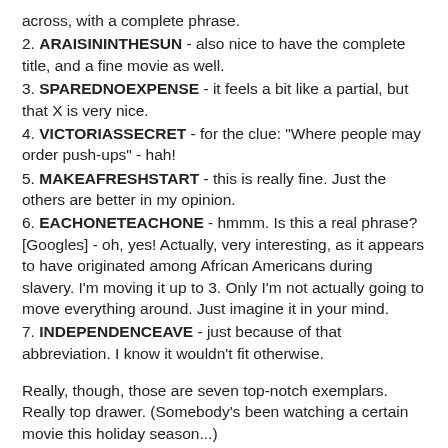across, with a complete phrase.
2. ARAISININTHESUN - also nice to have the complete title, and a fine movie as well.
3. SPAREDNOEXPENSE - it feels a bit like a partial, but that X is very nice.
4. VICTORIASSECRET - for the clue: "Where people may order push-ups" - hah!
5. MAKEAFRESHSTART - this is really fine. Just the others are better in my opinion.
6. EACHONETEACHONE - hmmm. Is this a real phrase? [Googles] - oh, yes! Actually, very interesting, as it appears to have originated among African Americans during slavery. I'm moving it up to 3. Only I'm not actually going to move everything around. Just imagine it in your mind.
7. INDEPENDENCEAVE - just because of that abbreviation. I know it wouldn't fit otherwise.
Really, though, those are seven top-notch exemplars. Really top drawer. (Somebody's been watching a certain movie this holiday season...)
So, in exchange, we do get a bunch of not such great short